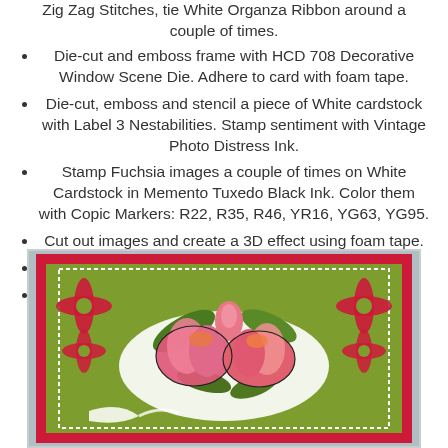Zig Zag Stitches, tie White Organza Ribbon around a couple of times.
Die-cut and emboss frame with HCD 708 Decorative Window Scene Die. Adhere to card with foam tape.
Die-cut, emboss and stencil a piece of White cardstock with Label 3 Nestabilities. Stamp sentiment with Vintage Photo Distress Ink.
Stamp Fuchsia images a couple of times on White Cardstock in Memento Tuxedo Black Ink. Color them with Copic Markers: R22, R35, R46, YR16, YG63, YG95.
Cut out images and create a 3D effect using foam tape.
Add this to Label piece and adhere to card.
Add Crystal Lacquer to flowers and set to dry.
[Figure (photo): A handmade greeting card with a green background, red decorative die-cut border, and colorful Fuchsia flowers stamped and colored with Copic markers in pink and orange, with white ribbon accent.]